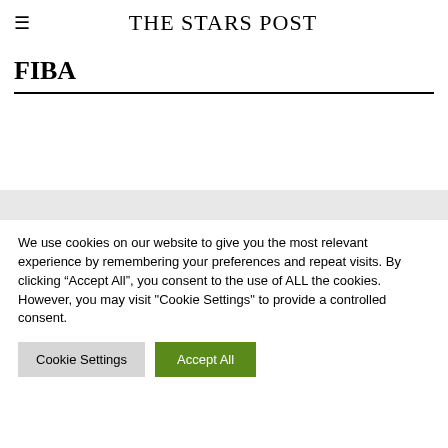THE STARS POST
FIBA
We use cookies on our website to give you the most relevant experience by remembering your preferences and repeat visits. By clicking “Accept All”, you consent to the use of ALL the cookies. However, you may visit "Cookie Settings" to provide a controlled consent.
Cookie Settings | Accept All